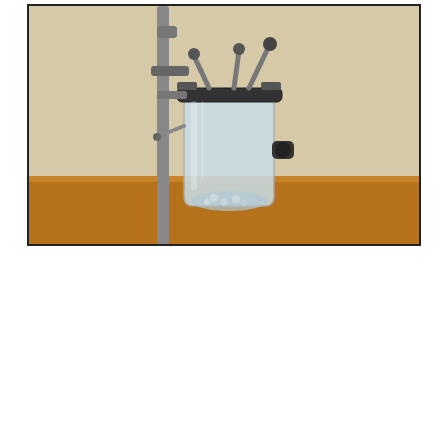[Figure (photo): Photograph of a laboratory bioreactor — a glass vessel with metal fittings, clamps, and tubing mounted on a stand, placed on a wooden surface against a beige wall.]
| Field | Value |
| --- | --- |
| Owner | National Research Council Cana... |
| Format | Image, Photograph |
| Photo album | Biology Box 2 |
| Date created | Date unknown |
| Date | 2010-06-07 |